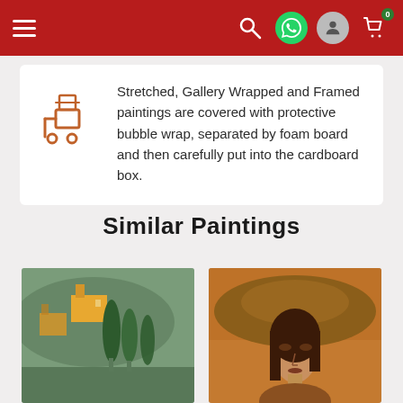Navigation bar with hamburger menu, search, WhatsApp, user, and cart (0) icons on red background
Stretched, Gallery Wrapped and Framed paintings are covered with protective bubble wrap, separated by foam board and then carefully put into the cardboard box.
Similar Paintings
[Figure (photo): Painting of trees and buildings with green and orange tones]
[Figure (photo): Portrait painting of a woman with a large hat, Modigliani style, warm brown/orange tones]